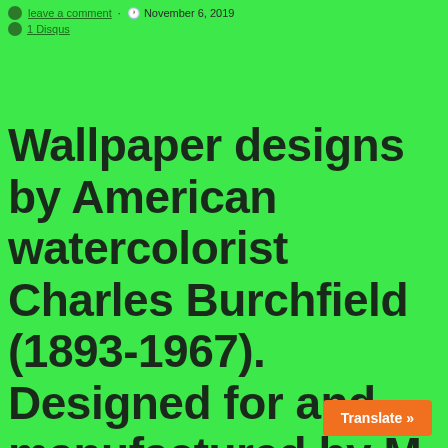leave a comment · November 6, 2019
1 Disqus
Wallpaper designs by American watercolorist Charles Burchfield (1893-1967). Designed for and manufactured by M. H. Birge & Sons Company, Buffalo, New York. One being a…